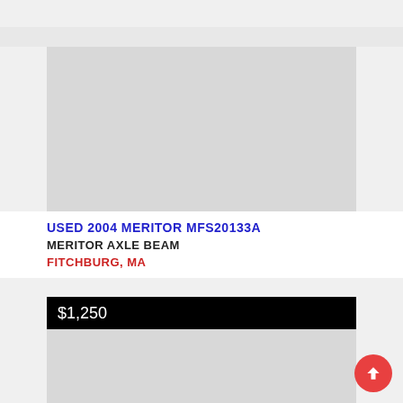[Figure (photo): Product listing image placeholder for used 2004 Meritor MFS20133A axle beam - image area shown as light gray placeholder]
USED 2004 MERITOR MFS20133A
MERITOR AXLE BEAM
FITCHBURG, MA
$1,250
[Figure (photo): Additional product image placeholder shown as light gray area]